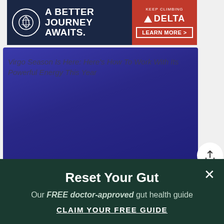[Figure (other): Delta Airlines advertisement banner: dark navy background with circular logo on left, bold text 'A BETTER JOURNEY AWAITS.' in white, red section on right with 'KEEP CLIMBING', Delta triangle logo, and 'LEARN MORE >' button]
[Figure (photo): Article hero image with solid indigo/purple-blue background. Overlaid italic text reads: 'Virgo Season Is Here: Here’s How To Work With Its Powerful Energy This Year']
Reset Your Gut
Our FREE doctor-approved gut health guide
CLAIM YOUR FREE GUIDE